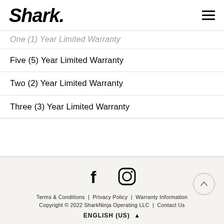Shark
One (1) Year Limited Warranty
Five (5) Year Limited Warranty
Two (2) Year Limited Warranty
Three (3) Year Limited Warranty
Terms & Conditions | Privacy Policy | Warranty Information
Copyright © 2022 SharkNinja Operating LLC | Contact Us
ENGLISH (US) ▲